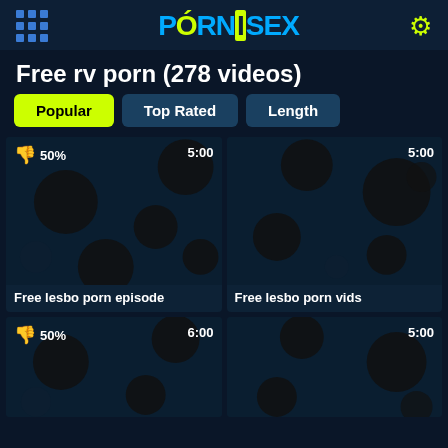PORNISEX
Free rv porn (278 videos)
Popular | Top Rated | Length
[Figure (screenshot): Video thumbnail with dark background and circular shapes, rating 50%, duration 5:00]
Free lesbo porn episode
[Figure (screenshot): Video thumbnail with dark background and circular shapes, duration 5:00]
Free lesbo porn vids
[Figure (screenshot): Video thumbnail with dark background and circular shapes, rating 50%, duration 6:00]
[Figure (screenshot): Video thumbnail with dark background and circular shapes, duration 5:00]